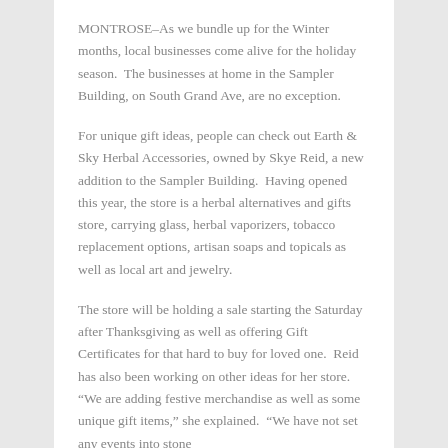MONTROSE–As we bundle up for the Winter months, local businesses come alive for the holiday season.  The businesses at home in the Sampler Building, on South Grand Ave, are no exception.
For unique gift ideas, people can check out Earth & Sky Herbal Accessories, owned by Skye Reid, a new addition to the Sampler Building.  Having opened this year, the store is a herbal alternatives and gifts store, carrying glass, herbal vaporizers, tobacco replacement options, artisan soaps and topicals as well as local art and jewelry.
The store will be holding a sale starting the Saturday after Thanksgiving as well as offering Gift Certificates for that hard to buy for loved one.  Reid has also been working on other ideas for her store.  “We are adding festive merchandise as well as some unique gift items,” she explained.  “We have not set any events into stone